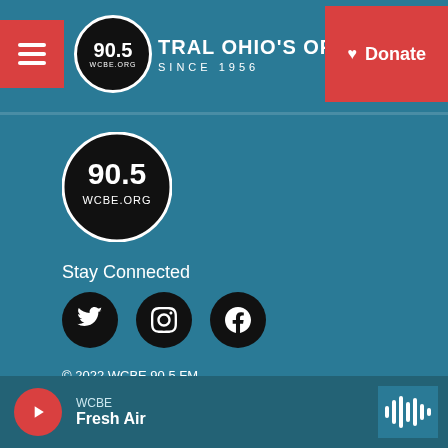[Figure (screenshot): WCBE 90.5 FM NPR station website header with logo, tagline 'CENTRAL OHIO'S ORIGINAL NPR STATION SINCE 1956', hamburger menu, and Donate button]
[Figure (logo): WCBE 90.5 WCBE.ORG circular logo in large format]
Stay Connected
[Figure (infographic): Social media icons: Twitter, Instagram, Facebook]
© 2022 WCBE 90.5 FM
WCBE is a broadcast service of Columbus City Schools.
About
WCBE
Fresh Air